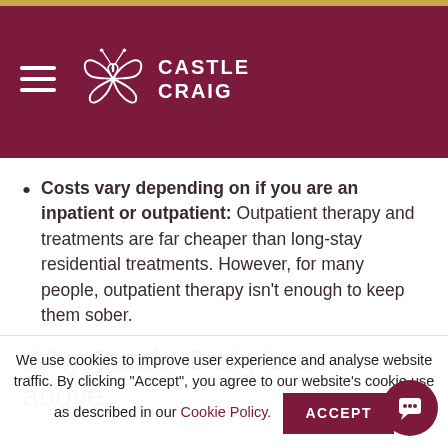Castle Craig
Costs vary depending on if you are an inpatient or outpatient: Outpatient therapy and treatments are far cheaper than long-stay residential treatments. However, for many people, outpatient therapy isn't enough to keep them sober.
Why Castle Craig is a cut above
We use cookies to improve user experience and analyse website traffic. By clicking "Accept", you agree to our website's cookie use as described in our Cookie Policy.